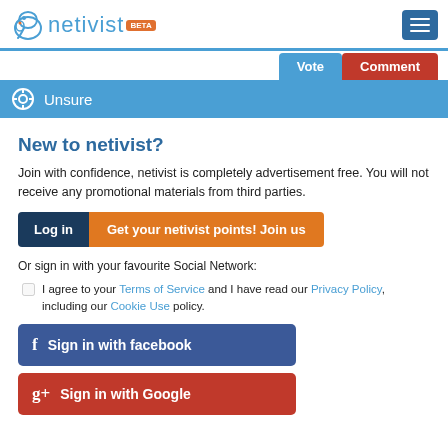netivist BETA
Unsure
New to netivist?
Join with confidence, netivist is completely advertisement free. You will not receive any promotional materials from third parties.
Log in | Get your netivist points! Join us
Or sign in with your favourite Social Network:
I agree to your Terms of Service and I have read our Privacy Policy, including our Cookie Use policy.
Sign in with facebook
Sign in with Google